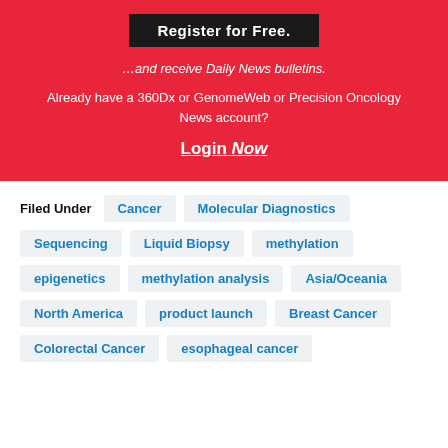Register for Free.
…and receive Daily News bulletins.
Already have a 360Dx or GenomeWeb or Precision Oncology News account?
Login Now
Filed Under
Cancer
Molecular Diagnostics
Sequencing
Liquid Biopsy
methylation
epigenetics
methylation analysis
Asia/Oceania
North America
product launch
Breast Cancer
Colorectal Cancer
esophageal cancer